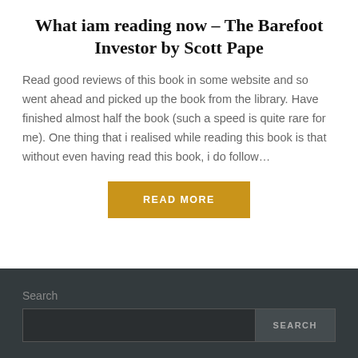What iam reading now – The Barefoot Investor by Scott Pape
Read good reviews of this book in some website and so went ahead and picked up the book from the library. Have finished almost half the book (such a speed is quite rare for me). One thing that i realised while reading this book is that without even having read this book, i do follow…
READ MORE
Search
SEARCH